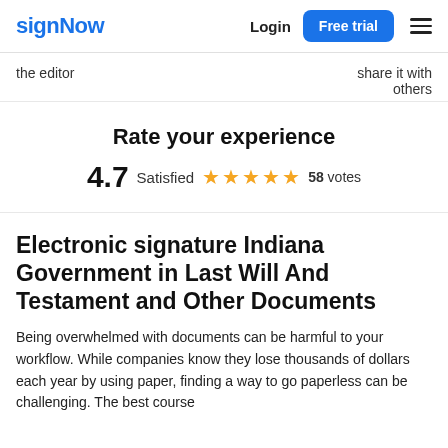signNow | Login | Free trial
the editor
share it with others
Rate your experience
4.7 Satisfied ★★★★★ 58 votes
Electronic signature Indiana Government in Last Will And Testament and Other Documents
Being overwhelmed with documents can be harmful to your workflow. While companies know they lose thousands of dollars each year by using paper, finding a way to go paperless can be challenging. The best course